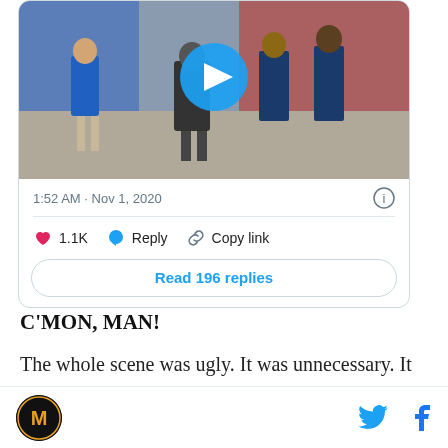[Figure (screenshot): Embedded tweet card showing a video thumbnail of people at what appears to be a football stadium with police officers, a play button overlay, timestamp '1:52 AM · Nov 1, 2020', an info icon, like count 1.1K with heart icon, Reply button with speech bubble icon, Copy link button with chain icon, and a 'Read 196 replies' button.]
1:52 AM · Nov 1, 2020
1.1K   Reply   Copy link
Read 196 replies
C’MON, MAN!
The whole scene was ugly. It was unnecessary. It looked like Missouri was sore losers and Florida’s head
M logo, Twitter icon, Facebook icon